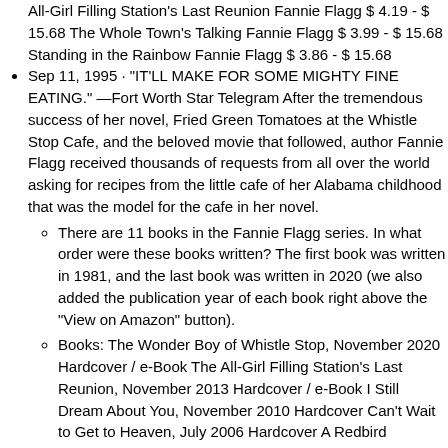All-Girl Filling Station's Last Reunion Fannie Flagg $ 4.19 - $ 15.68 The Whole Town's Talking Fannie Flagg $ 3.99 - $ 15.68 Standing in the Rainbow Fannie Flagg $ 3.86 - $ 15.68
Sep 11, 1995 · "IT'LL MAKE FOR SOME MIGHTY FINE EATING." —Fort Worth Star Telegram After the tremendous success of her novel, Fried Green Tomatoes at the Whistle Stop Cafe, and the beloved movie that followed, author Fannie Flagg received thousands of requests from all over the world asking for recipes from the little cafe of her Alabama childhood that was the model for the cafe in her novel.
There are 11 books in the Fannie Flagg series. In what order were these books written? The first book was written in 1981, and the last book was written in 2020 (we also added the publication year of each book right above the "View on Amazon" button).
Books: The Wonder Boy of Whistle Stop, November 2020 Hardcover / e-Book The All-Girl Filling Station's Last Reunion, November 2013 Hardcover / e-Book I Still Dream About You, November 2010 Hardcover Can't Wait to Get to Heaven, July 2006 Hardcover A Redbird Christmas, November 2005 Hardcover Daisy Fay And The Miracle Man, September 2005
Welcome to the World, Baby Girl! is the funny, serious, and compelling new novel by Fannie Flagg